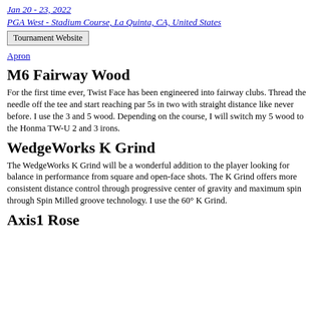Jan 20 - 23, 2022
PGA West - Stadium Course, La Quinta, CA, United States
Tournament Website
Apron
M6 Fairway Wood
For the first time ever, Twist Face has been engineered into fairway clubs. Thread the needle off the tee and start reaching par 5s in two with straight distance like never before. I use the 3 and 5 wood. Depending on the course, I will switch my 5 wood to the Honma TW-U 2 and 3 irons.
WedgeWorks K Grind
The WedgeWorks K Grind will be a wonderful addition to the player looking for balance in performance from square and open-face shots. The K Grind offers more consistent distance control through progressive center of gravity and maximum spin through Spin Milled groove technology. I use the 60° K Grind.
Axis1 Rose